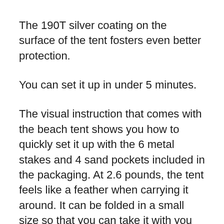The 190T silver coating on the surface of the tent fosters even better protection.
You can set it up in under 5 minutes.
The visual instruction that comes with the beach tent shows you how to quickly set it up with the 6 metal stakes and 4 sand pockets included in the packaging. At 2.6 pounds, the tent feels like a feather when carrying it around. It can be folded in a small size so that you can take it with you when traveling.
The material of the beach tent is breathable because of the interwoven mesh integrated into it. The mesh windows, thus, ensure the